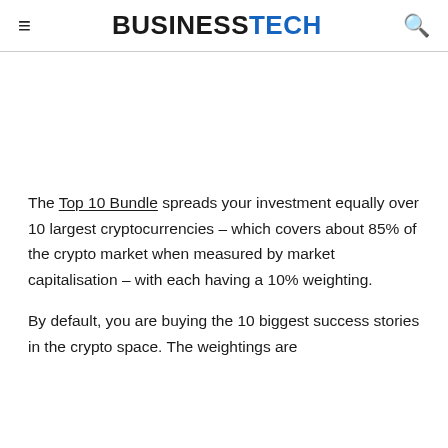BUSINESSTECH
[Figure (other): Advertisement/blank area]
The Top 10 Bundle spreads your investment equally over 10 largest cryptocurrencies – which covers about 85% of the crypto market when measured by market capitalisation – with each having a 10% weighting.
By default, you are buying the 10 biggest success stories in the crypto space. The weightings are